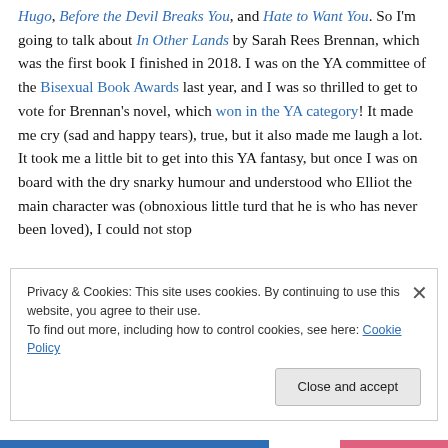Hugo, Before the Devil Breaks You, and Hate to Want You. So I'm going to talk about In Other Lands by Sarah Rees Brennan, which was the first book I finished in 2018. I was on the YA committee of the Bisexual Book Awards last year, and I was so thrilled to get to vote for Brennan's novel, which won in the YA category! It made me cry (sad and happy tears), true, but it also made me laugh a lot. It took me a little bit to get into this YA fantasy, but once I was on board with the dry snarky humour and understood who Elliot the main character was (obnoxious little turd that he is who has never been loved), I could not stop
Privacy & Cookies: This site uses cookies. By continuing to use this website, you agree to their use.
To find out more, including how to control cookies, see here: Cookie Policy